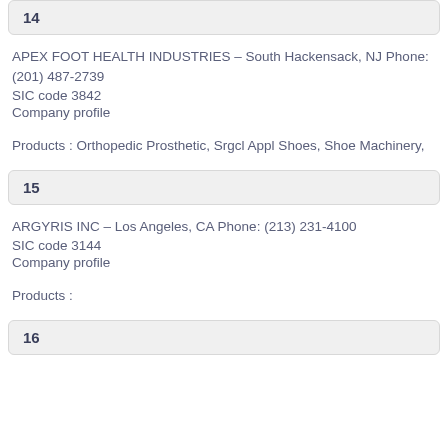14
APEX FOOT HEALTH INDUSTRIES – South Hackensack, NJ Phone: (201) 487-2739
SIC code 3842
Company profile
Products : Orthopedic Prosthetic, Srgcl Appl Shoes, Shoe Machinery,
15
ARGYRIS INC – Los Angeles, CA Phone: (213) 231-4100
SIC code 3144
Company profile
Products :
16